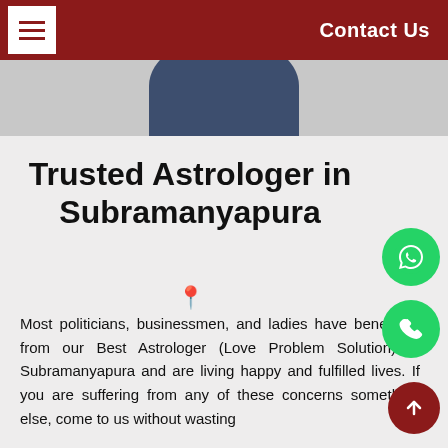Contact Us
[Figure (photo): Partially visible circular portrait photo of a person, cropped at the top by the header bar, on a light gray background]
Trusted Astrologer in Subramanyapura
Most politicians, businessmen, and ladies have benefitted from our Best Astrologer (Love Problem Solution) in Subramanyapura and are living happy and fulfilled lives. If you are suffering from any of these concerns something else, come to us without wasting